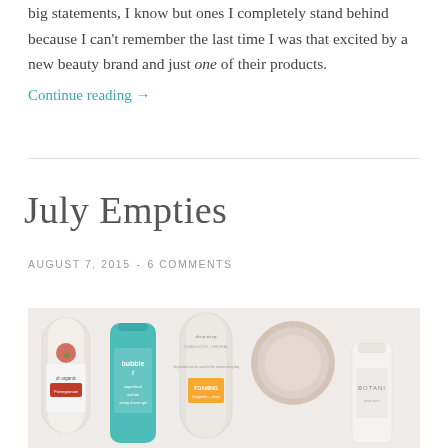big statements, I know but ones I completely stand behind because I can't remember the last time I was that excited by a new beauty brand and just one of their products.
Continue reading →
July Empties
AUGUST 7, 2015  -  6 COMMENTS
[Figure (photo): Flat lay photo of empty beauty product bottles including dr.organic pomegranate, bubble-t, deep steep foaming, a round cream jar, and a Botani bottle, arranged on a light background]